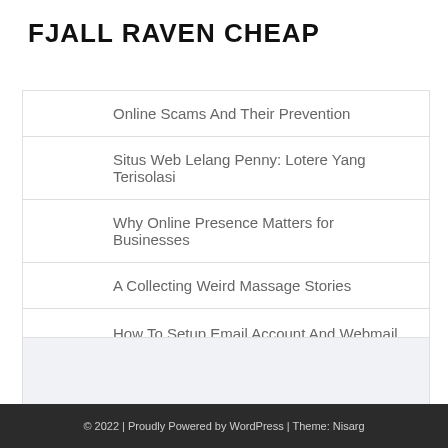FJALL RAVEN CHEAP
Online Scams And Their Prevention
Situs Web Lelang Penny: Lotere Yang Terisolasi
Why Online Presence Matters for Businesses
A Collecting Weird Massage Stories
How To Setup Email Account And Webmail Access From cPanel
© 2022 | Proudly Powered by WordPress | Theme: Nisarg